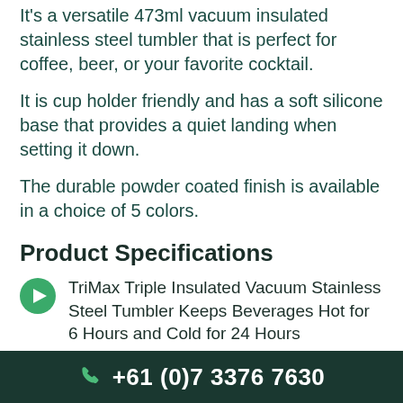It's a versatile 473ml vacuum insulated stainless steel tumbler that is perfect for coffee, beer, or your favorite cocktail.
It is cup holder friendly and has a soft silicone base that provides a quiet landing when setting it down.
The durable powder coated finish is available in a choice of 5 colors.
Product Specifications
TriMax Triple Insulated Vacuum Stainless Steel Tumbler Keeps Beverages Hot for 6 Hours and Cold for 24 Hours
Premium Food Grade 18/8 Stainless
+61 (0)7 3376 7630